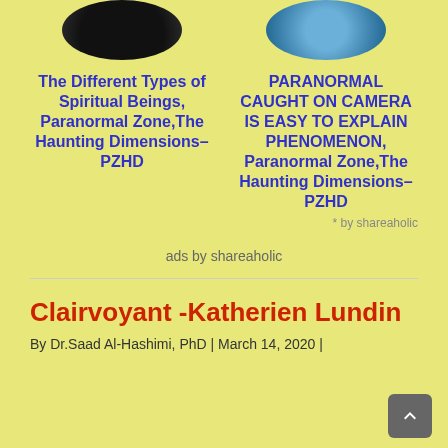[Figure (photo): Two circular thumbnail images side by side — left is dark/black, right is blue toned]
The Different Types of Spiritual Beings, Paranormal Zone,The Haunting Dimensions– PZHD
PARANORMAL CAUGHT ON CAMERA IS EASY TO EXPLAIN PHENOMENON, Paranormal Zone,The Haunting Dimensions– PZHD
* by shareaholic
ads by shareaholic
Clairvoyant -Katherien Lundin
By Dr.Saad Al-Hashimi, PhD | March 14, 2020 |